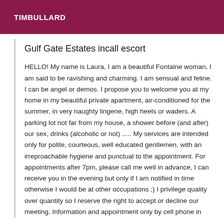TIMBULLARD
Gulf Gate Estates incall escort
HELLO! My name is Laura, I am a beautiful Fontaine woman, I am said to be ravishing and charming. I am sensual and feline. I can be angel or demos. I propose you to welcome you at my home in my beautiful private apartment, air-conditioned for the summer, in very naughty lingerie, high heels or waders. A parking lot not far from my house, a shower before (and after) our sex, drinks (alcoholic or not) ..... My services are intended only for polite, courteous, well educated gentlemen, with an irreproachable hygiene and punctual to the appointment. For appointments after 7pm, please call me well in advance, I can receive you in the evening but only if I am notified in time otherwise I would be at other occupations ;) I privilege quality over quantity so I reserve the right to accept or decline our meeting. Information and appointment only by cell phone in